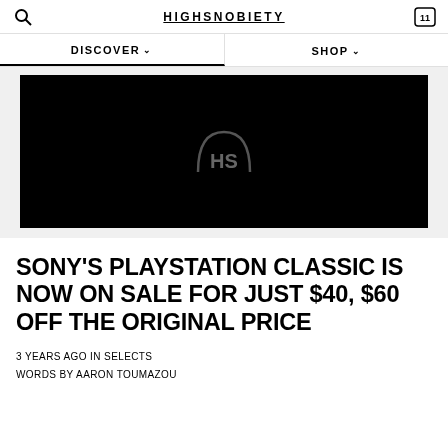HIGHSNOBIETY
DISCOVER ∨    SHOP ∨
[Figure (other): Black video placeholder with Highsnobiety HS logo watermark in the center]
SONY'S PLAYSTATION CLASSIC IS NOW ON SALE FOR JUST $40, $60 OFF THE ORIGINAL PRICE
3 YEARS AGO IN SELECTS
WORDS BY AARON TOUMAZOU